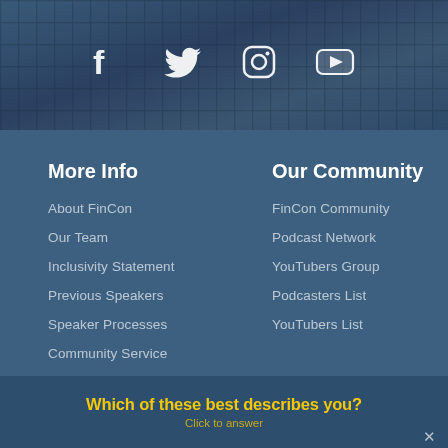[Figure (illustration): Dark blue-tinted crowd photo banner with social media icons: Facebook, Twitter, Instagram, YouTube]
More Info
About FinCon
Our Team
Inclusivity Statement
Previous Speakers
Speaker Processes
Community Service
Our Community
FinCon Community
Podcast Network
YouTubers Group
Podcasters List
YouTubers List
Which of these best describes you?
Click to answer